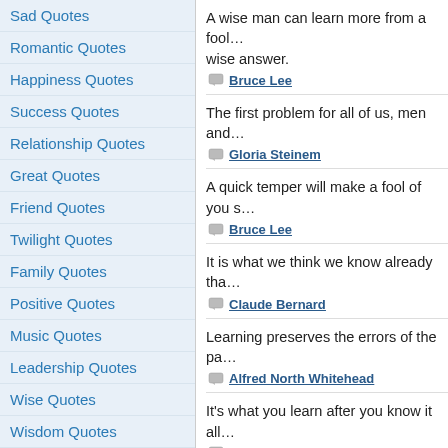Sad Quotes
Romantic Quotes
Happiness Quotes
Success Quotes
Relationship Quotes
Great Quotes
Friend Quotes
Twilight Quotes
Family Quotes
Positive Quotes
Music Quotes
Leadership Quotes
Wise Quotes
Wisdom Quotes
View more topics >>
Quotes by Author
A wise man can learn more from a fool… wise answer.
Bruce Lee
The first problem for all of us, men and…
Gloria Steinem
A quick temper will make a fool of you s…
Bruce Lee
It is what we think we know already tha…
Claude Bernard
Learning preserves the errors of the pa…
Alfred North Whitehead
It's what you learn after you know it all…
John Wooden